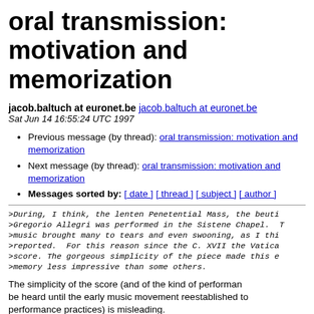oral transmission: motivation and memorization
jacob.baltuch at euronet.be jacob.baltuch at euronet.be
Sat Jun 14 16:55:24 UTC 1997
Previous message (by thread): oral transmission: motivation and memorization
Next message (by thread): oral transmission: motivation and memorization
Messages sorted by: [ date ] [ thread ] [ subject ] [ author ]
>During, I think, the lenten Penetential Mass, the beaut
>Gregorio Allegri was performed in the Sistene Chapel. T
>music brought many to tears and even swooning, as I thi
>reported.  For this reason since the C. XVII the Vatica
>score. The gorgeous simplicity of the piece made this e
>memory less impressive than some others.
The simplicity of the score (and of the kind of performan be heard until the early music movement reestablished to performance practices) is misleading.
Mozart of course wrote down the "Miseroro" exactly as he